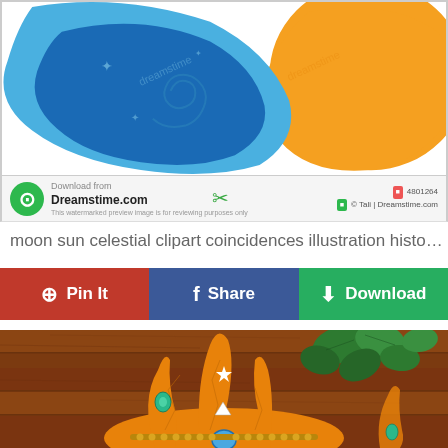[Figure (illustration): Partial view of a moon and sun celestial clipart illustration from Dreamstime.com — blue moon shape and orange sun shape on white background with Dreamstime watermark bar at bottom showing logo, 'Download from Dreamstime.com' text, scissors icon, and image ID]
moon sun celestial clipart coincidences illustration histo…
Pin It   Share   Download
[Figure (photo): Photo of an orange crackle-glazed ceramic sun/moon face sculpture with green gem eyes, white star, triangular embellishments, and gold beaded crown, placed on a wooden plank surface with ivy/green leaves in background]